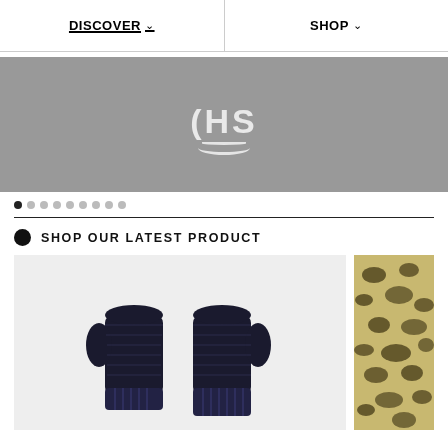DISCOVER  SHOP
[Figure (logo): Gray banner with HS logo (parenthesis-H-S with smile arc underneath) in white]
[Figure (infographic): Pagination dots row — 9 dots, first is dark, rest are light gray]
SHOP OUR LATEST PRODUCT
[Figure (photo): Product photo: pair of dark navy ribbed knit mittens/gloves on light gray background]
[Figure (photo): Partial product photo: leopard/animal print textured item on right side (partially visible)]